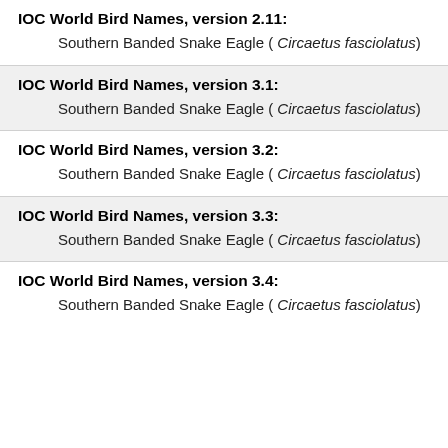IOC World Bird Names, version 2.11:
        Southern Banded Snake Eagle ( Circaetus fasciolatus)
IOC World Bird Names, version 3.1:
        Southern Banded Snake Eagle ( Circaetus fasciolatus)
IOC World Bird Names, version 3.2:
        Southern Banded Snake Eagle ( Circaetus fasciolatus)
IOC World Bird Names, version 3.3:
        Southern Banded Snake Eagle ( Circaetus fasciolatus)
IOC World Bird Names, version 3.4:
        Southern Banded Snake Eagle ( Circaetus fasciolatus)